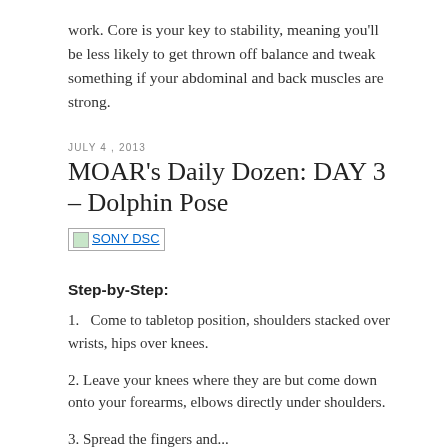work. Core is your key to stability, meaning you'll be less likely to get thrown off balance and tweak something if your abdominal and back muscles are strong.
JULY 4, 2013
MOAR's Daily Dozen: DAY 3 – Dolphin Pose
[Figure (photo): Image placeholder labeled SONY DSC]
Step-by-Step:
1.  Come to tabletop position, shoulders stacked over wrists, hips over knees.
2. Leave your knees where they are but come down onto your forearms, elbows directly under shoulders.
3. Spread the fingers and...